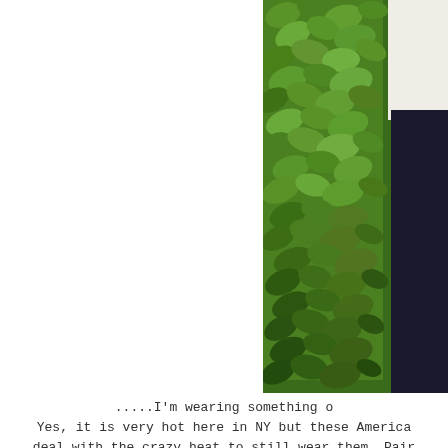[Figure (photo): A person standing in front of a dense wall of green ivy leaves. The person is wearing a white top and dark/black pants. Only the right portion of the image is visible, cropped on the right side.]
.....I'm wearing something o Yes, it is very hot here in NY but these America deal with the crazy heat to still wear them. Pair bought a couple of years ago I st